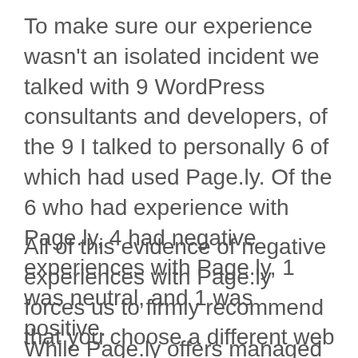To make sure our experience wasn't an isolated incident we talked with 9 WordPress consultants and developers, of the 9 I talked to personally 6 of which had used Page.ly. Of the 6 who had experience with Page.ly, 4 had negative experiences with Page.ly, 1 was neutral, and 1 was positive.
All of this evidence of negative experiences with Page.ly forces us to firmly recommend that you choose a different web host.
While Page.ly offers managed